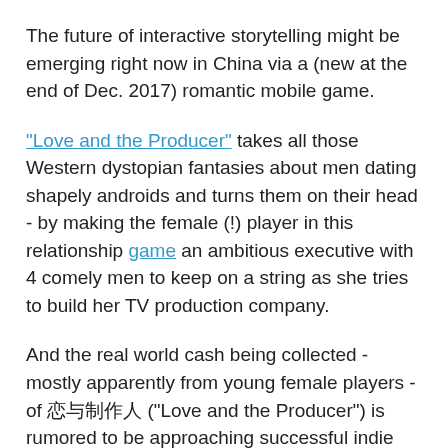The future of interactive storytelling might be emerging right now in China via a (new at the end of Dec. 2017) romantic mobile game.
"Love and the Producer" takes all those Western dystopian fantasies about men dating shapely androids and turns them on their head - by making the female (!) player in this relationship game an ambitious executive with 4 comely men to keep on a string as she tries to build her TV production company.
And the real world cash being collected - mostly apparently from young female players - of 恋与制作人 ("Love and the Producer") is rumored to be approaching successful indie film levels - and growing.
That massive popularity, its appeal to young women, and the way "Love and the Producer" is straying into